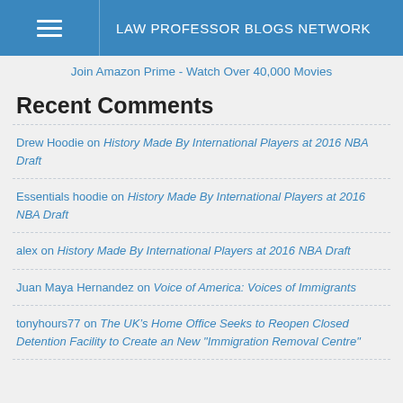LAW PROFESSOR BLOGS NETWORK
Join Amazon Prime - Watch Over 40,000 Movies
Recent Comments
Drew Hoodie on History Made By International Players at 2016 NBA Draft
Essentials hoodie on History Made By International Players at 2016 NBA Draft
alex on History Made By International Players at 2016 NBA Draft
Juan Maya Hernandez on Voice of America: Voices of Immigrants
tonyhours77 on The UK’s Home Office Seeks to Reopen Closed Detention Facility to Create an New "Immigration Removal Centre"